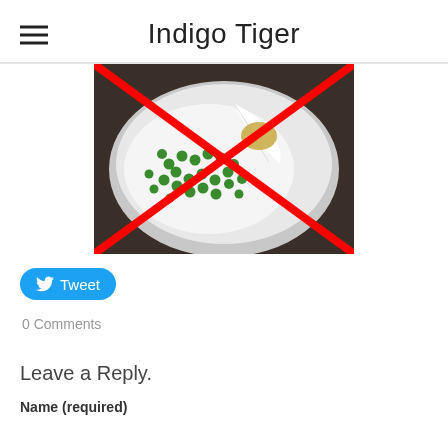Indigo Tiger
[Figure (photo): A white plate with green peas, with a red X drawn over the image indicating disapproval or 'no'.]
Tweet
0 Comments
Leave a Reply.
Name (required)